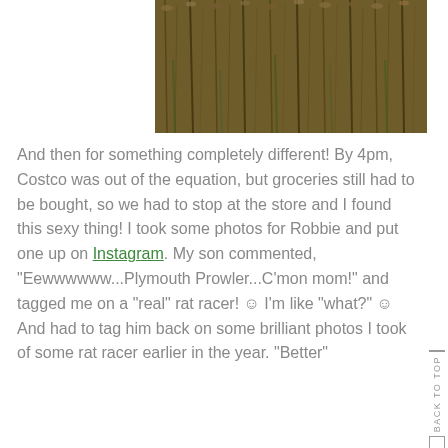[Figure (photo): Photo of tall dried grasses/reeds in a field, brown and tan colored vegetation]
And then for something completely different! By 4pm, Costco was out of the equation, but groceries still had to be bought, so we had to stop at the store and I found this sexy thing! I took some photos for Robbie and put one up on Instagram. My son commented, "Eewwwwww...Plymouth Prowler...C'mon mom!" and tagged me on a "real" rat racer! 😊 I'm like "what?" 😊 And had to tag him back on some brilliant photos I took of some rat racer earlier in the year. "Better"